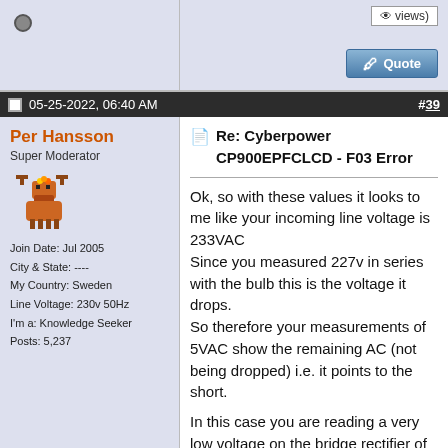[Figure (screenshot): Top section of a forum post with a views count box and a Quote button on the right, and an offline status icon on the left side.]
05-25-2022, 06:40 AM  #39
Per Hansson
Super Moderator
Join Date: Jul 2005
City & State: ----
My Country: Sweden
Line Voltage: 230v 50Hz
I'm a: Knowledge Seeker
Posts: 5,237
Re: Cyberpower CP900EPFCLCD - F03 Error

Ok, so with these values it looks to me like your incoming line voltage is 233VAC
Since you measured 227v in series with the bulb this is the voltage it drops.
So therefore your measurements of 5VAC show the remaining AC (not being dropped) i.e. it points to the short.

In this case you are reading a very low voltage on the bridge rectifier of only 3.96VAC and 5.361VAC in C22 before it.
This points to the bridge rectifier or something after it